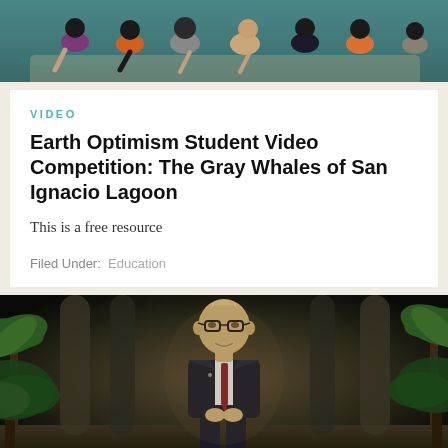[Figure (photo): People wearing life vests on a boat, viewed from above, over blue-green water]
VIDEO
Earth Optimism Student Video Competition: The Gray Whales of San Ignacio Lagoon
This is a free resource
Filed Under: Education
[Figure (photo): A bald man wearing glasses, dark suit and red tie, speaking on stage with palm tree decorations in background]